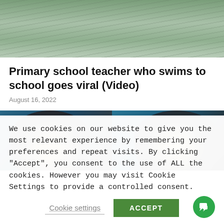[Figure (photo): Top portion of article showing water surface, greenish-grey tones, river or flood water]
Primary school teacher who swims to school goes viral (Video)
August 16, 2022
[Figure (photo): Two side-by-side photos of a football/soccer player with blonde-tipped hair bowing head, dark skin, wearing blue jersey]
We use cookies on our website to give you the most relevant experience by remembering your preferences and repeat visits. By clicking "Accept", you consent to the use of ALL the cookies. However you may visit Cookie Settings to provide a controlled consent.